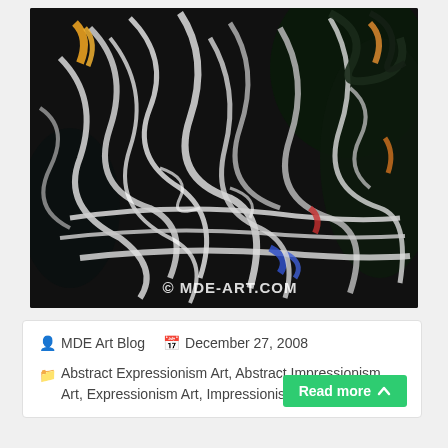[Figure (illustration): Abstract expressionist painting with swirling silver, black, white, and occasional orange/blue strokes in chaotic patterns. Watermark reads '© MDE-ART.COM' in bottom right corner.]
MDE Art Blog   December 27, 2008
Abstract Expressionism Art, Abstract Impressionism Art, Expressionism Art, Impressionism Art
Read more